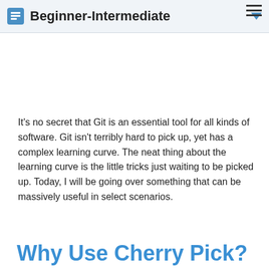Beginner-Intermediate
It’s no secret that Git is an essential tool for all kinds of software. Git isn’t terribly hard to pick up, yet has a complex learning curve. The neat thing about the learning curve is the little tricks just waiting to be picked up. Today, I will be going over something that can be massively useful in select scenarios.
Why Use Cherry Pick?